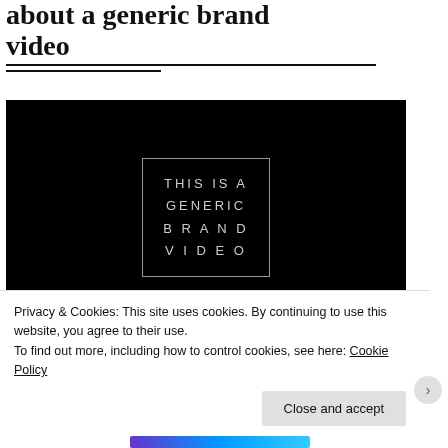about a generic brand video
[Figure (screenshot): Black video thumbnail with centered white text in a rectangular border reading 'THIS IS A GENERIC BRAND VIDEO' in spaced capital letters]
Privacy & Cookies: This site uses cookies. By continuing to use this website, you agree to their use.
To find out more, including how to control cookies, see here: Cookie Policy
Close and accept